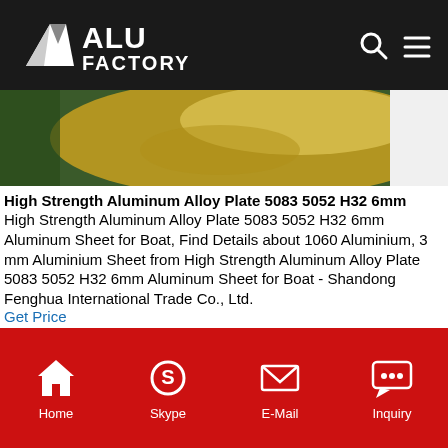ALU FACTORY
[Figure (photo): Product image showing metallic aluminum sheet surface with green background, partial view]
High Strength Aluminum Alloy Plate 5083 5052 H32 6mm
High Strength Aluminum Alloy Plate 5083 5052 H32 6mm Aluminum Sheet for Boat, Find Details about 1060 Aluminium, 3 mm Aluminium Sheet from High Strength Aluminum Alloy Plate 5083 5052 H32 6mm Aluminum Sheet for Boat - Shandong Fenghua International Trade Co., Ltd.
Get Price
[Figure (photo): Aluminum alloy sheets stacked with yellow protective packaging and metal roller visible]
Home  Skype  E-Mail  Inquiry